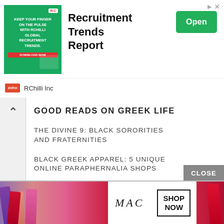[Figure (screenshot): Advertisement banner for RChilli Inc Recruitment Trends Report with green background image, bold title, and Open button]
GOOD READS ON GREEK LIFE
THE DIVINE 9: BLACK SORORITIES AND FRATERNITIES
BLACK GREEK APPAREL: 5 UNIQUE ONLINE PARAPHERNALIA SHOPS
JOINING A BLACK SORORITY
JOINING A BLACK GREEK GRADUATE CHAPTER
[Figure (screenshot): MAC cosmetics advertisement showing lipsticks with SHOP NOW button]